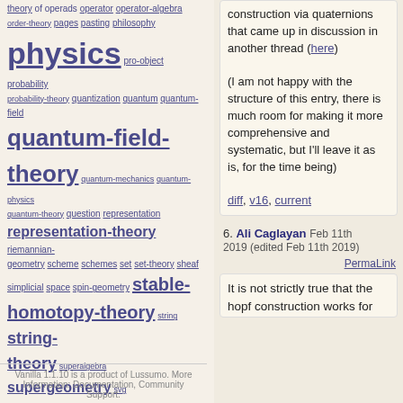theory of operads operator operator-algebra order-theory pages pasting philosophy physics pro-object probability probability-theory quantization quantum quantum-field quantum-field-theory quantum-mechanics quantum-physics quantum-theory question representation representation-theory riemannian-geometry scheme schemes set set-theory sheaf simplicial space spin-geometry stable-homotopy-theory string string-theory superalgebra supergeometry svg symplectic-geometry synthetic-differential-geometry terminology theory topology topos topos-theory type type-theory universal variational-calculus
Vanilla 1.1.10 is a product of Lussumo. More Information: Documentation, Community Support.
construction via quaternions that came up in discussion in another thread (here)

(I am not happy with the structure of this entry, there is much room for making it more comprehensive and systematic, but I'll leave it as is, for the time being)

diff, v16, current
6. Ali Caglayan Feb 11th 2019 (edited Feb 11th 2019)
PermaLink

It is not strictly true that the hopf construction works for